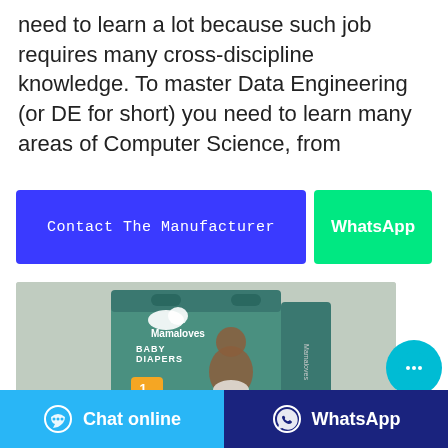need to learn a lot because such job requires many cross-discipline knowledge. To master Data Engineering (or DE for short) you need to learn many areas of Computer Science, from
[Figure (other): Two clickable buttons: 'Contact The Manufacturer' (blue/purple) and 'WhatsApp' (green)]
[Figure (photo): Product photo of Mamaloves Baby Diapers packaging (teal/green box with baby image), size 1, 2-5kg, Unisex]
[Figure (other): Floating cyan circular chat bubble button on the right side]
[Figure (other): Bottom bar with two buttons: 'Chat online' (light blue) and 'WhatsApp' (dark blue/navy)]